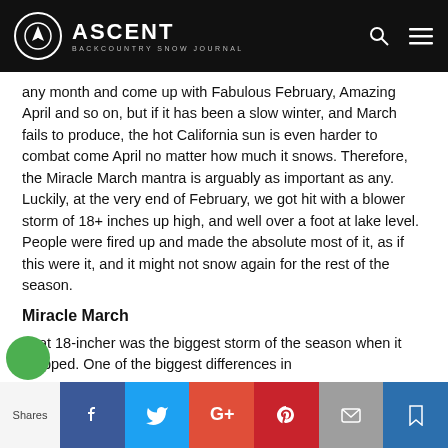ASCENT — BACKCOUNTRY SNOW JOURNAL
any month and come up with Fabulous February, Amazing April and so on, but if it has been a slow winter, and March fails to produce, the hot California sun is even harder to combat come April no matter how much it snows. Therefore, the Miracle March mantra is arguably as important as any. Luckily, at the very end of February, we got hit with a blower storm of 18+ inches up high, and well over a foot at lake level. People were fired up and made the absolute most of it, as if this were it, and it might not snow again for the rest of the season.
Miracle March
That 18-incher was the biggest storm of the season when it dropped. One of the biggest differences in
Shares  [Facebook] [Twitter] [Google+] [Pinterest] [Email] [Bookmark]